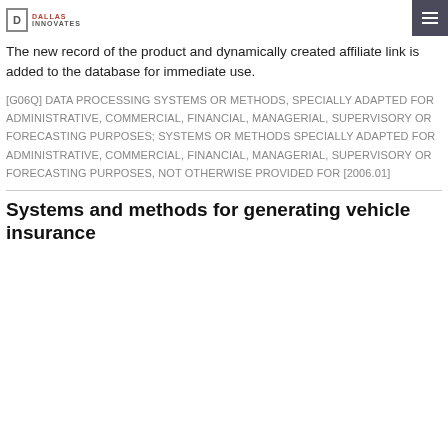Dallas Innovates
The new record of the product and dynamically created affiliate link is added to the database for immediate use.
[G06Q] DATA PROCESSING SYSTEMS OR METHODS, SPECIALLY ADAPTED FOR ADMINISTRATIVE, COMMERCIAL, FINANCIAL, MANAGERIAL, SUPERVISORY OR FORECASTING PURPOSES; SYSTEMS OR METHODS SPECIALLY ADAPTED FOR ADMINISTRATIVE, COMMERCIAL, FINANCIAL, MANAGERIAL, SUPERVISORY OR FORECASTING PURPOSES, NOT OTHERWISE PROVIDED FOR [2006.01]
Systems and methods for generating vehicle insurance